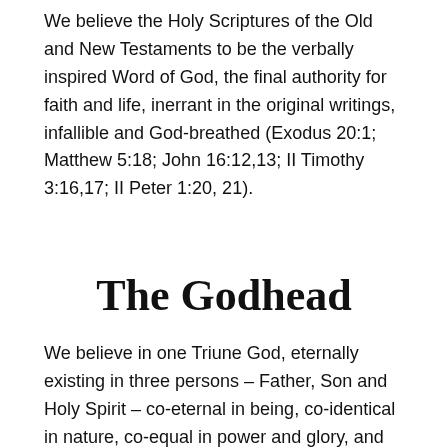We believe the Holy Scriptures of the Old and New Testaments to be the verbally inspired Word of God, the final authority for faith and life, inerrant in the original writings, infallible and God-breathed (Exodus 20:1; Matthew 5:18; John 16:12,13; II Timothy 3:16,17; II Peter 1:20, 21).
The Godhead
We believe in one Triune God, eternally existing in three persons – Father, Son and Holy Spirit – co-eternal in being, co-identical in nature, co-equal in power and glory, and